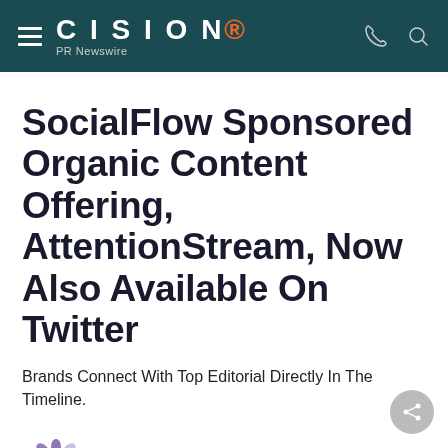CISION PR Newswire
SocialFlow Sponsored Organic Content Offering, AttentionStream, Now Also Available On Twitter
Brands Connect With Top Editorial Directly In The Timeline.
[Figure (logo): SocialFlow logo with purple flower/snowflake icon and SOCIALFLOW text in purple and light purple]